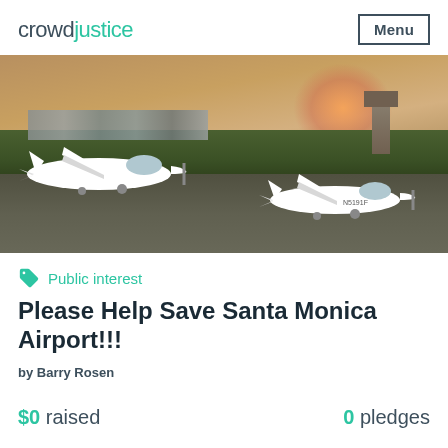crowd justice  Menu
[Figure (photo): Aerial photo of Santa Monica Airport with two small white propeller aircraft (Cirrus SR22 type) on the tarmac, control tower visible in background, palm trees, hazy sunset sky with orange/pink glow]
Public interest
Please Help Save Santa Monica Airport!!!
by Barry Rosen
$0 raised   0 pledges